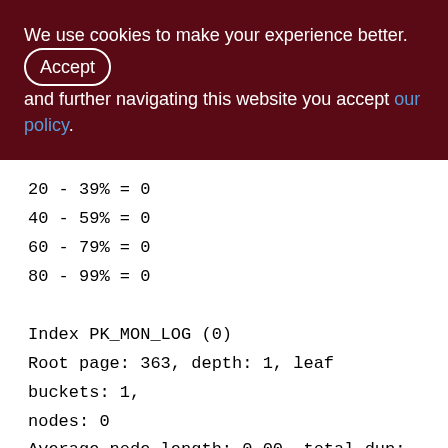We use cookies to make your experience better. By accepting and further navigating this website you accept our policy.
20 - 39% = 0
40 - 59% = 0
60 - 79% = 0
80 - 99% = 0
Index PK_MON_LOG (0)
Root page: 363, depth: 1, leaf buckets: 1, nodes: 0
Average node length: 0.00, total dup: 0, max dup: 0
Average key length: 0.00, compression ratio: 0.00